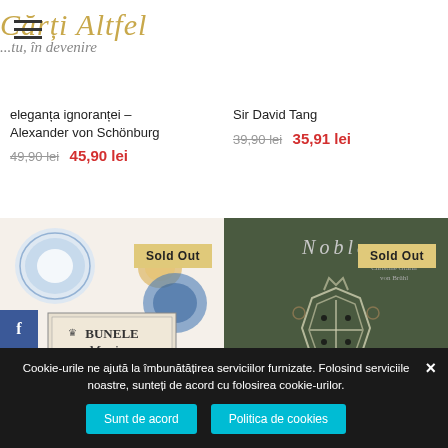Cărți Altfel ...tu, în devenire
eleganța ignoranței – Alexander von Schönburg
49,90 lei 45,90 lei
Sir David Tang
39,90 lei 35,91 lei
[Figure (photo): Book cover: Bunele Maniere la masă with blue plates and gold cutlery illustration, white background, with 'Sold Out' badge]
[Figure (photo): Book cover: Noble by Christine Gräfin von Brühl, dark green background with white heraldic crest and floral decoration, with 'Sold Out' badge]
Cookie-urile ne ajută la îmbunătățirea serviciilor furnizate. Folosind serviciile noastre, sunteți de acord cu folosirea cookie-urilor.
Sunt de acord
Politica de cookies